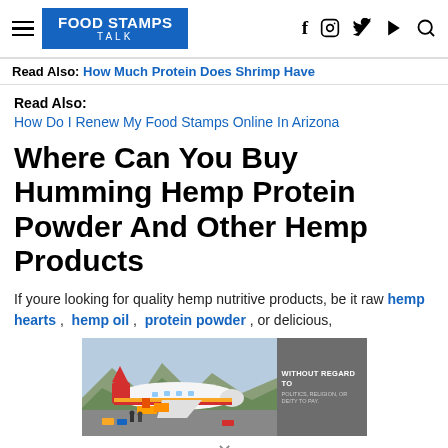Food Stamps Talk
Read Also: How Much Protein Does Shrimp Have
Read Also:
How Do I Renew My Food Stamps Online In Arizona
Where Can You Buy Humming Hemp Protein Powder And Other Hemp Products
If youre looking for quality hemp nutritive products, be it raw hemp hearts , hemp oil , protein powder , or delicious,
[Figure (photo): Advertisement banner showing an airplane being loaded with cargo, with text overlay reading 'WITHOUT REGARD TO POLITICS, RELIGION, OR DEITY TO PAY']